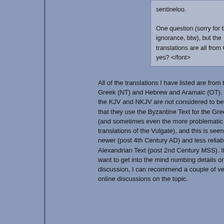sentineloo.

One question (sorry for the ignorance, btw), but the translations are all from Greek, yes? </font>
All of the translations I have listed are from the original Greek (NT) and Hebrew and Aramaic (OT). The reason the KJV and NKJV are not considered to be as reliable is that they use the Byzantine Text for the Greek of the NT (and sometimes even the more problematic Latin translations of the Vulgate), and this is seen as being newer (post 4th Century AD) and less reliable than is the Alexandrian Text (post 2nd Century MSS). If you really want to get into the mind numbing details on this discussion, I can recommend a couple of very good online discussions on the topic.